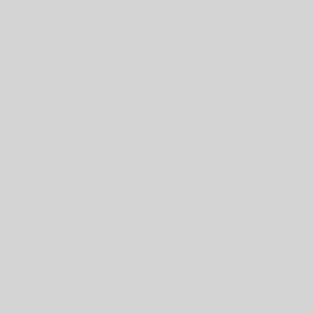Go dance around the bower
And tell them that I sent yo
Profane the ground, and for
And breath of jessamine, le
And deadly nightshade pois
For the sweet nightingale, m
Toads pant, and adders rust
May serpents winding up th
 Their hissing necks upon th
And mingle kisses-such as
YOUNG
Why have those banished a
Dared once to touch a dust
But more than why-why ha
So many miles upon her pe
Frightening her pale-faced v
And ostentation of despised
Comest thou because the an
Why, foolish boy, the king i
Aud in my loyal bosom lies
« Zurück